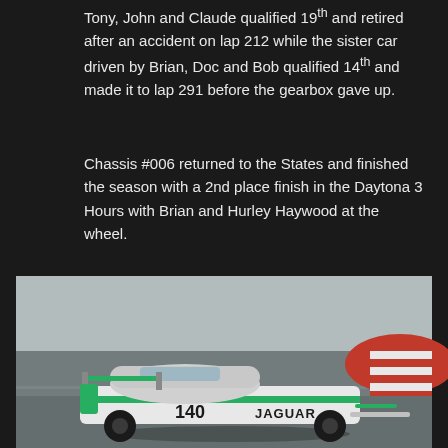Tony, John and Claude qualified 19th and retired after an accident on lap 212 while the sister car driven by Brian, Doc and Bob qualified 14th and made it to lap 291 before the gearbox gave up.
Chassis #006 returned to the States and finished the season with a 2nd place finish in the Daytona 3 Hours with Brian and Hurley Haywood at the wheel.
For 1985, by which time Lee Dykstra reckoned he had redesigned 99% of the XJR5, #006 was prepared for the Le Mans 24 hours.
[Figure (photo): A white Jaguar XJR5 racing car with green stripes and the number 140, photographed on a racing circuit. The car has the Jaguar branding visible on the side.]